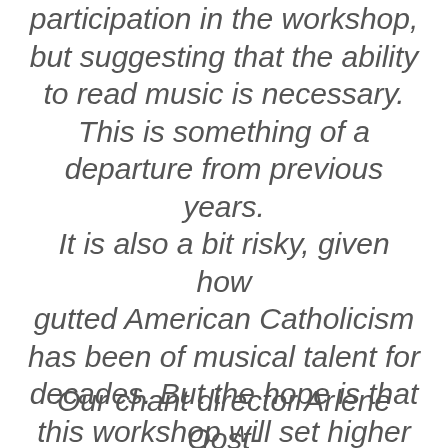participation in the workshop, but suggesting that the ability to read music is necessary. This is something of a departure from previous years. It is also a bit risky, given how gutted American Catholicism has been of musical talent for decades. But the hope is that this workshop will set higher standards of excellence in general and reflect the reality that Catholic music is a serious matter.
Our chant director Arlene Oost-Zinner points out that no parish